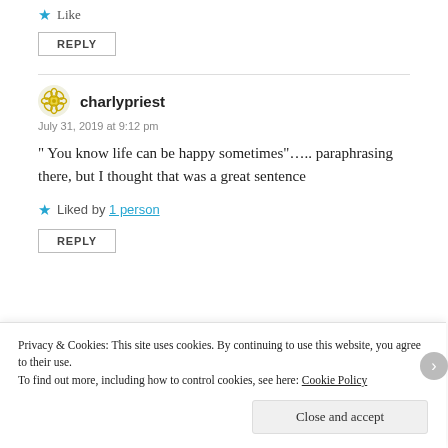Like
REPLY
charlypriest
July 31, 2019 at 9:12 pm
" You know life can be happy sometimes"..... paraphrasing there, but I thought that was a great sentence
Liked by 1 person
REPLY
Privacy & Cookies: This site uses cookies. By continuing to use this website, you agree to their use.
To find out more, including how to control cookies, see here: Cookie Policy
Close and accept